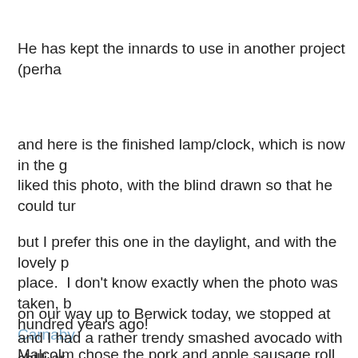He has kept the innards to use in another project (perha
and here is the finished lamp/clock, which is now in the g liked this photo, with the blind drawn so that he could tur
but I prefer this one in the daylight, and with the lovely p place.  I don't know exactly when the photo was taken, b hundred years ago!
on our way up to Berwick today, we stopped at Carnaby Malcolm chose the pork and apple sausage roll, which w
and I had a rather trendy smashed avocado with chilli ar which was also very tasty.